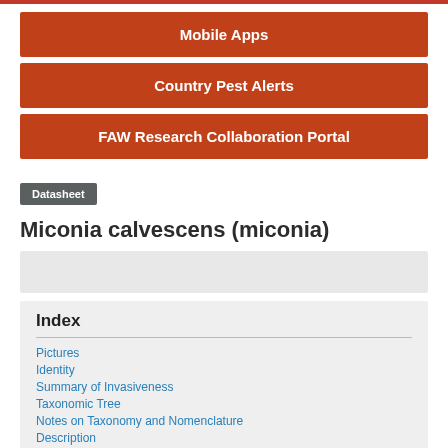Mobile Apps
Country Pest Alerts
FAW Research Collaboration Portal
Datasheet
Miconia calvescens (miconia)
[Figure (other): Image placeholder / thumbnail area]
Index
Pictures
Identity
Summary of Invasiveness
Taxonomic Tree
Notes on Taxonomy and Nomenclature
Description